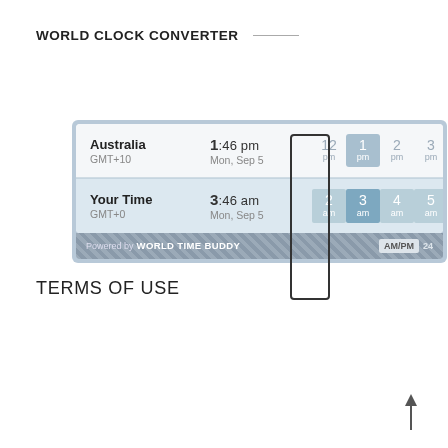WORLD CLOCK CONVERTER
[Figure (screenshot): World clock converter widget showing Australia at 1:46 pm GMT+10 on Mon Sep 5, and Your Time at 3:46 am GMT+0 on Mon Sep 5. A horizontal hour strip shows hours 12pm, 1pm, 2pm, 3pm, 4pm for Australia and 2am, 3am, 4am, 5am, 6am for Your Time. The 1pm and 3am columns are highlighted with a selection box. Powered by WORLD TIME BUDDY with AM/PM and 24 toggle buttons.]
TERMS OF USE